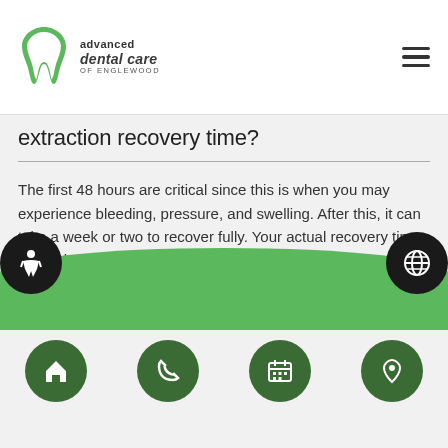advanced dental care of Englewood
extraction recovery time?
The first 48 hours are critical since this is when you may experience bleeding, pressure, and swelling. After this, it can take a week or two to recover fully. Your actual recovery time will be based on the procedure and whether or not your wisdom teeth extraction was completed with surgery.